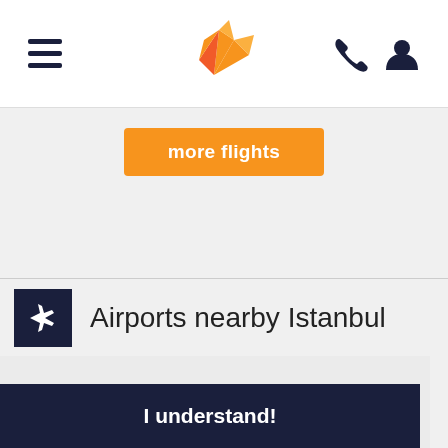Navigation bar with hamburger menu, bird logo, phone and user icons
[Figure (screenshot): Orange 'more flights' button on gray background]
Airports nearby Istanbul
Our site uses cookies. For more information please read About Cookies and Privacy policy
I understand!